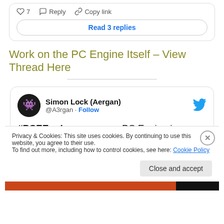♡ 7   Reply   Copy link
Read 3 replies
Work on the PC Engine Itself – View Thread Here
Simon Lock (Aergan) @A3rgan · Follow
#PCEEngine progress - PC Engine is reassembled. Shell colour is very close to what it should be. Internals all cleaned and
Privacy & Cookies: This site uses cookies. By continuing to use this website, you agree to their use.
To find out more, including how to control cookies, see here: Cookie Policy
Close and accept